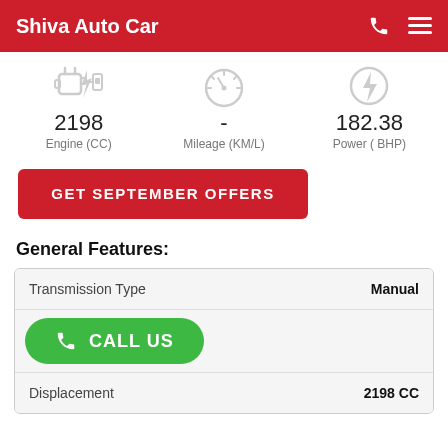Shiva Auto Car
2198 Engine (CC)  -  Mileage (KM/L)  182.38 Power ( BHP)
GET SEPTEMBER OFFERS
General Features:
| Feature | Value |
| --- | --- |
| Transmission Type | Manual |
| (CALL US button row) |  |
| Displacement | 2198 CC |